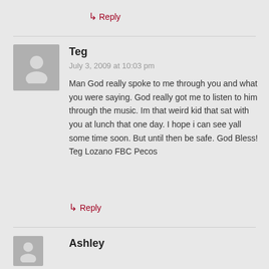↳ Reply
Teg
July 3, 2009 at 10:03 pm
Man God really spoke to me through you and what you were saying. God really got me to listen to him through the music. Im that weird kid that sat with you at lunch that one day. I hope i can see yall some time soon. But until then be safe. God Bless! Teg Lozano FBC Pecos
↳ Reply
Ashley